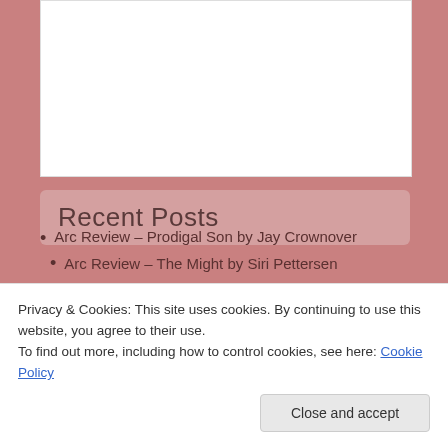[Figure (photo): White rectangular image area at the top of the page]
Recent Posts
Arc Review – The Might by Siri Pettersen
Arc Review – We Were kings by Court Stevens
Arc Review – Prodigal Son by Jay Crownover
Privacy & Cookies: This site uses cookies. By continuing to use this website, you agree to their use.
To find out more, including how to control cookies, see here: Cookie Policy